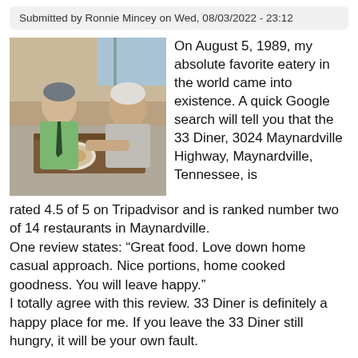Submitted by Ronnie Mincey on Wed, 08/03/2022 - 23:12
[Figure (photo): Two people sitting across from each other at a diner table. One person wearing a green dress shirt and tie, the other wearing a light grey t-shirt. There is a plate of food and a mug on the table.]
On August 5, 1989, my absolute favorite eatery in the world came into existence. A quick Google search will tell you that the 33 Diner, 3024 Maynardville Highway, Maynardville, Tennessee, is rated 4.5 of 5 on Tripadvisor and is ranked number two of 14 restaurants in Maynardville.
One review states: “Great food. Love down home casual approach. Nice portions, home cooked goodness. You will leave happy.”
I totally agree with this review. 33 Diner is definitely a happy place for me. If you leave the 33 Diner still hungry, it will be your own fault.